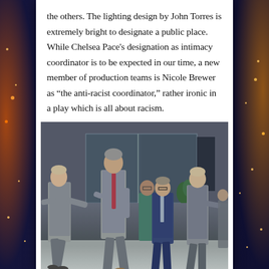the others. The lighting design by John Torres is extremely bright to designate a public place. While Chelsea Pace's designation as intimacy coordinator is to be expected in our time, a new member of production teams is Nicole Brewer as “the anti-racist coordinator,” rather ironic in a play which is all about racism.
[Figure (photo): Theater stage photo showing five actors walking across a modern stage set with glass wall backdrop and bright lighting. Actors wear business attire including gray suits and dark blue suit.]